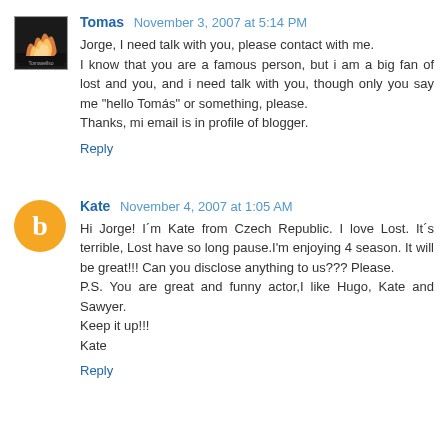Tomas November 3, 2007 at 5:14 PM
Jorge, I need talk with you, please contact with me.
I know that you are a famous person, but i am a big fan of lost and you, and i need talk with you, though only you say me "hello Tomás" or something, please.
Thanks, mi email is in profile of blogger.
Reply
Kate November 4, 2007 at 1:05 AM
Hi Jorge! I´m Kate from Czech Republic. I love Lost. It´s terrible, Lost have so long pause.I'm enjoying 4 season. It will be great!!! Can you disclose anything to us??? Please.
P.S. You are great and funny actor,I like Hugo, Kate and Sawyer.
Keep it up!!!
Kate
Reply